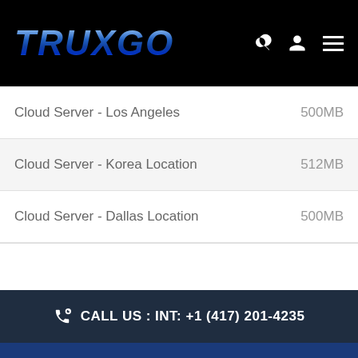TRUXGO
| Product | RAM |
| --- | --- |
| Cloud Server - Los Angeles | 500MB |
| Cloud Server - Korea Location | 512MB |
| Cloud Server - Dallas Location | 500MB |
CALL US : INT: +1 (417) 201-4235
[INFO@TRUXGOSERVERS.COM]
TRUXGO SERVERS